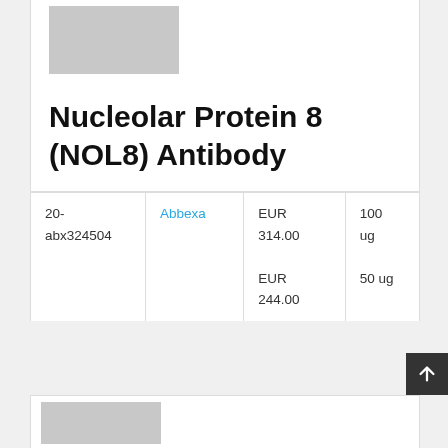[Figure (photo): Gray placeholder image for product]
Nucleolar Protein 8 (NOL8) Antibody
| Catalog # | Supplier | Price | Size |
| --- | --- | --- | --- |
| 20-abx324504 | Abbexa | EUR 314.00
EUR 244.00 | 100 ug
50 ug |